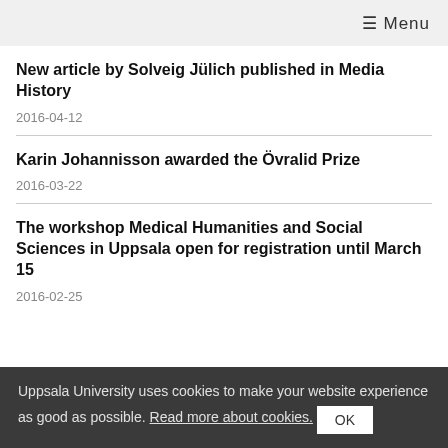≡ Menu
New article by Solveig Jülich published in Media History
2016-04-12
Karin Johannisson awarded the Övralid Prize
2016-03-22
The workshop Medical Humanities and Social Sciences in Uppsala open for registration until March 15
2016-02-25
Uppsala University uses cookies to make your website experience as good as possible. Read more about cookies. OK